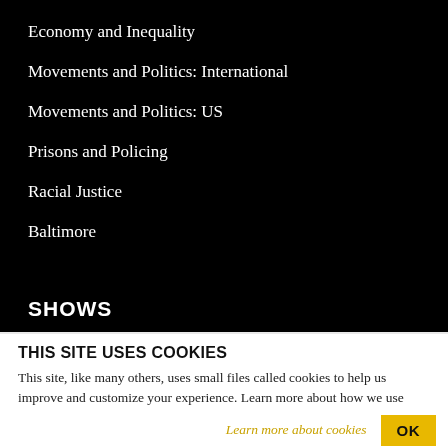Economy and Inequality
Movements and Politics: International
Movements and Politics: US
Prisons and Policing
Racial Justice
Baltimore
SHOWS
THIS SITE USES COOKIES
This site, like many others, uses small files called cookies to help us improve and customize your experience. Learn more about how we use cookies in our cookie policy.
Learn more about cookies   OK